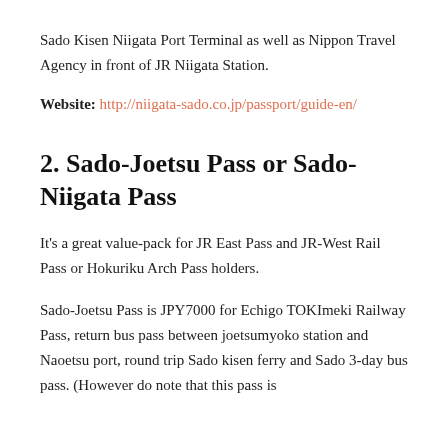Sado Kisen Niigata Port Terminal as well as Nippon Travel Agency in front of JR Niigata Station.
Website: http://niigata-sado.co.jp/passport/guide-en/
2. Sado-Joetsu Pass or Sado-Niigata Pass
It's a great value-pack for JR East Pass and JR-West Rail Pass or Hokuriku Arch Pass holders.
Sado-Joetsu Pass is JPY7000 for Echigo TOKImeki Railway Pass, return bus pass between joetsumyoko station and Naoetsu port, round trip Sado kisen ferry and Sado 3-day bus pass. (However do note that this pass is